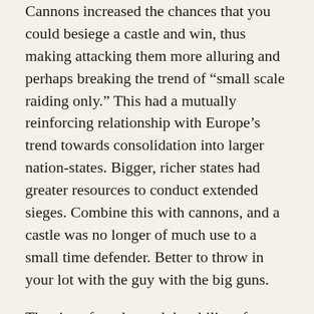Cannons increased the chances that you could besiege a castle and win, thus making attacking them more alluring and perhaps breaking the trend of “small scale raiding only.” This had a mutually reinforcing relationship with Europe’s trend towards consolidation into larger nation-states. Bigger, richer states had greater resources to conduct extended sieges. Combine this with cannons, and a castle was no longer of much use to a small time defender. Better to throw in your lot with the guy with the big guns.
The size of castles and the ability of armies to conduct sieges would have differed depending on when and where you were. In the Byzantine or Arab world, they would have had more resources to build larger fortifications as well as to conduct large scale sieges.
But in a fragmented world of semi-independent small